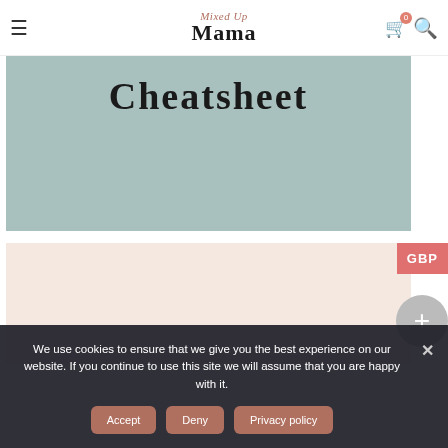Mixed Up Mama
[Figure (screenshot): Teal/sage colored background with large bold text 'Cheatsheet' partially visible at the top]
[Figure (screenshot): Light pink/cream colored content area below the teal image, with a GBP currency button on the right and a circular plus button]
We use cookies to ensure that we give you the best experience on our website. If you continue to use this site we will assume that you are happy with it.
Accept  Deny  Privacy policy